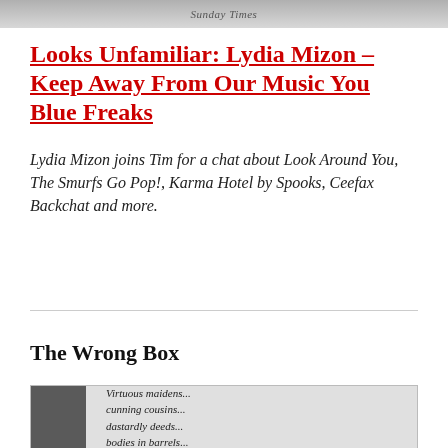[Figure (photo): Cropped top portion of a photo showing Sunday Times text overlay]
Looks Unfamiliar: Lydia Mizon – Keep Away From Our Music You Blue Freaks
Lydia Mizon joins Tim for a chat about Look Around You, The Smurfs Go Pop!, Karma Hotel by Spooks, Ceefax Backchat and more.
The Wrong Box
[Figure (photo): Photo of a person wearing a hat, with text overlay reading: Virtuous maidens... cunning cousins... dastardly deeds... bodies in barrels...]